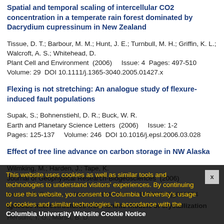Spatial and temporal scaling of intercellular CO2 concentration in a temperate rain forest dominated by Dacrydium cupressinum in New Zealand
Tissue, D. T.; Barbour, M. M.; Hunt, J. E.; Turnbull, M. H.; Griffin, K. L.; Walcroft, A. S.; Whitehead, D.
Plant Cell and Environment  (2006)    Issue: 4  Pages: 497-510
Volume: 29  DOI 10.1111/j.1365-3040.2005.01427.x
Flexing is not stretching: An analogue study of flexure-induced fault populations
Supak, S.; Bohnenstiehl, D. R.; Buck, W. R.
Earth and Planetary Science Letters  (2006)    Issue: 1-2
Pages: 125-137    Volume: 246  DOI 10.1016/j.epsl.2006.03.028
Effect of tree line advance on carbon storage in NW Alaska
Wilmking, M.; Harden, J.; Tape, K.
Journal of Geophysical Research-Biogeosciences  (2006)
Issue: G2  Pages: -    Volume: 111  Doi 10.1029/2005jg000074
Igneous microstructures from kinetic models of crystallization
Hersum, T. G.; Marsh, B. D.
Journal of Volcanology and Geothermal Research  (2006)
Issue: 1-2  Pages: 34-47    Volume: 154
DOI 10.1016/j.jvolgeores.2005.09.018